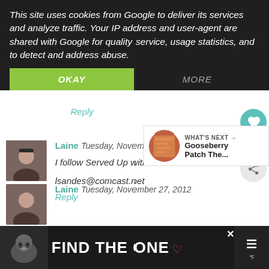This site uses cookies from Google to deliver its services and analyze traffic. Your IP address and user-agent are shared with Google for quality service, usage statistics, and to detect and address abuse.
OKAY
MORE
Reply
Laine  Tuesday, November 27, 2012
I follow Served Up with Love on Pinterst
lsandes@comcast.net
Reply
WHAT'S NEXT → Gooseberry Patch The...
Laine  Tuesday, November 27, 2012
FIND THE ONE
[Figure (screenshot): Cookie consent overlay on a blog comment page showing a cookie notice with OKAY and MORE buttons, comment by Laine with avatar, heart and share action buttons, and an ad banner at the bottom saying FIND THE ONE with a dog image]